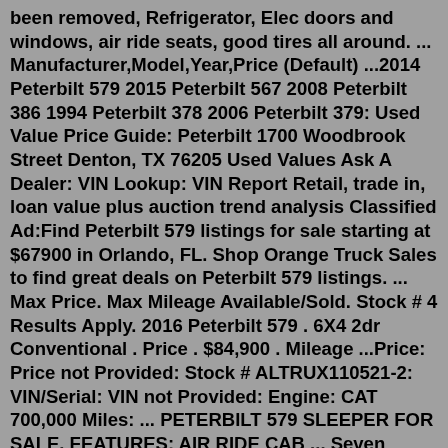been removed, Refrigerator, Elec doors and windows, air ride seats, good tires all around. ... Manufacturer,Model,Year,Price (Default) ...2014 Peterbilt 579 2015 Peterbilt 567 2008 Peterbilt 386 1994 Peterbilt 378 2006 Peterbilt 379: Used Value Price Guide: Peterbilt 1700 Woodbrook Street Denton, TX 76205 Used Values Ask A Dealer: VIN Lookup: VIN Report Retail, trade in, loan value plus auction trend analysis Classified Ad:Find Peterbilt 579 listings for sale starting at $67900 in Orlando, FL. Shop Orange Truck Sales to find great deals on Peterbilt 579 listings. ... Max Price. Max Mileage Available/Sold. Stock # 4 Results Apply. 2016 Peterbilt 579 . 6X4 2dr Conventional . Price . $84,900 . Mileage ...Price: Price not Provided: Stock # ALTRUX110521-2: VIN/Serial: VIN not Provided: Engine: CAT 700,000 Miles: ... PETERBILT 579 SLEEPER FOR SALE. FEATURES: AIR RIDE CAB ... Seven years have passed since my first drive in a Peterbilt Model 579 Yes, I know; I am going to mow the lawn tomorrow R&R main cab harness on